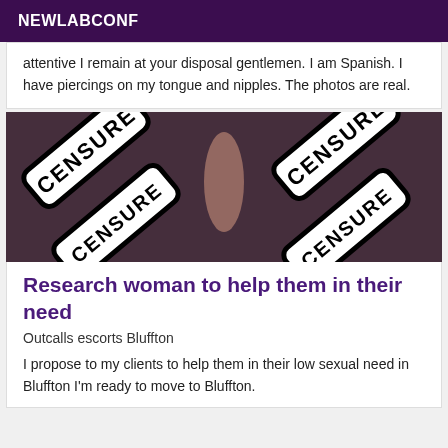NEWLABCONF
attentive I remain at your disposal gentlemen. I am Spanish. I have piercings on my tongue and nipples. The photos are real.
[Figure (photo): Multiple censored stamp signs with 'CENSURE' text printed in bold stencil lettering on white rectangular labels with rounded black borders, arranged overlapping at angles against a dark blurred background.]
Research woman to help them in their need
Outcalls escorts Bluffton
I propose to my clients to help them in their low sexual need in Bluffton I'm ready to move to Bluffton.